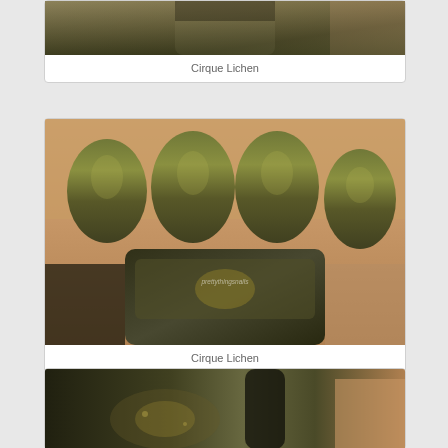[Figure (photo): Close-up photo of nail polish bottle being applied, showing dark olive/gold metallic shimmer polish, partially cropped at top]
Cirque Lichen
[Figure (photo): Close-up photo of four fingers with dark olive/gold metallic shimmer nail polish applied, with nail polish bottle in foreground, watermark reads 'prettythingsnails']
Cirque Lichen
[Figure (photo): Close-up photo of nail polish bottle showing dark olive/gold metallic shimmer polish, partially cropped at bottom of page]